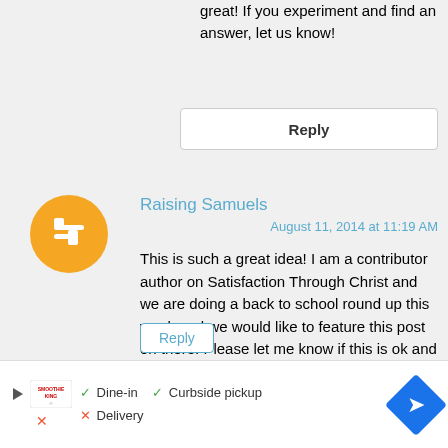great idea! If you experiment and find an answer, let us know!
Reply
Raising Samuels
August 11, 2014 at 11:19 AM
This is such a great idea! I am a contributor author on Satisfaction Through Christ and we are doing a back to school round up this week and we would like to feature this post on there! Please let me know if this is ok and if we could use the photo image in the article. Congratulations on being featured! The article will post this Thursday :)
Reply
[Figure (other): Advertisement banner: Smoothie King restaurant ad showing play button icon, Smoothie King logo, checkmarks for Dine-in and Curbside pickup, X for Delivery, and a blue navigation arrow icon.]